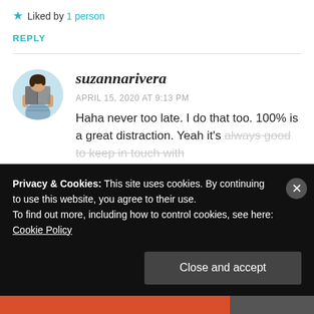★ Liked by 1 person
REPLY
suzannarivera
APRIL 15, 2020 AT 9:13 PM
Haha never too late. I do that too. 100% is a great distraction. Yeah it's always good to keep in touch with
Privacy & Cookies: This site uses cookies. By continuing to use this website, you agree to their use.
To find out more, including how to control cookies, see here:
Cookie Policy
Close and accept